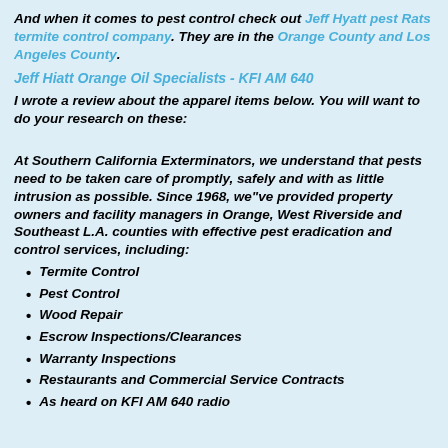And when it comes to pest control check out Jeff Hyatt pest Rats termite control company. They are in the Orange County and Los Angeles County.
Jeff Hiatt Orange Oil Specialists - KFI AM 640
I wrote a review about the apparel items below. You will want to do your research on these:
At Southern California Exterminators, we understand that pests need to be taken care of promptly, safely and with as little intrusion as possible. Since 1968, we"ve provided property owners and facility managers in Orange, West Riverside and Southeast L.A. counties with effective pest eradication and control services, including:
Termite Control
Pest Control
Wood Repair
Escrow Inspections/Clearances
Warranty Inspections
Restaurants and Commercial Service Contracts
As heard on KFI AM 640 radio